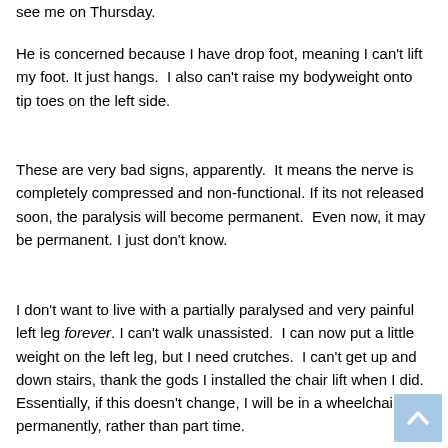see me on Thursday.
He is concerned because I have drop foot, meaning I can't lift my foot. It just hangs.  I also can't raise my bodyweight onto tip toes on the left side.
These are very bad signs, apparently.  It means the nerve is completely compressed and non-functional. If its not released soon, the paralysis will become permanent.  Even now, it may be permanent. I just don't know.
I don't want to live with a partially paralysed and very painful left leg forever. I can't walk unassisted.  I can now put a little weight on the left leg, but I need crutches.  I can't get up and down stairs, thank the gods I installed the chair lift when I did.  Essentially, if this doesn't change, I will be in a wheelchair permanently, rather than part time.